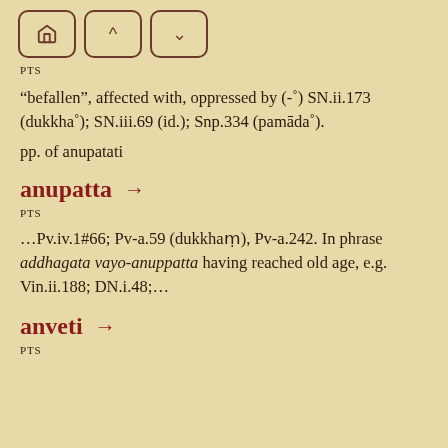[Figure (other): Navigation bar with home, up, and down arrow buttons]
PTS
“befallen”, affected with, oppressed by (-˚) SN.ii.173 (dukkha˚); SN.iii.69 (id.); Snp.334 (pamāda˚).
pp. of anupatati
anupatta →
PTS
…Pv.iv.1#66; Pv-a.59 (dukkhaṃ), Pv-a.242. In phrase addhagata vayo-anuppatta having reached old age, e.g. Vin.ii.188; DN.i.48;…
anveti →
PTS